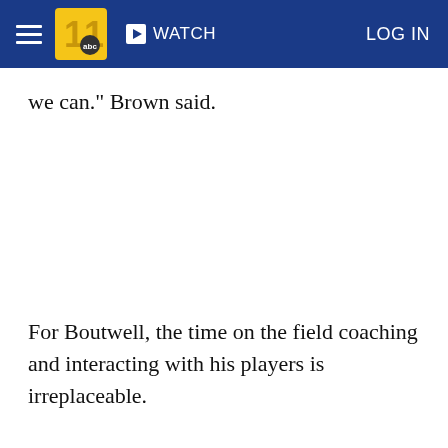WATCH   LOG IN
we can." Brown said.
For Boutwell, the time on the field coaching and interacting with his players is irreplaceable.